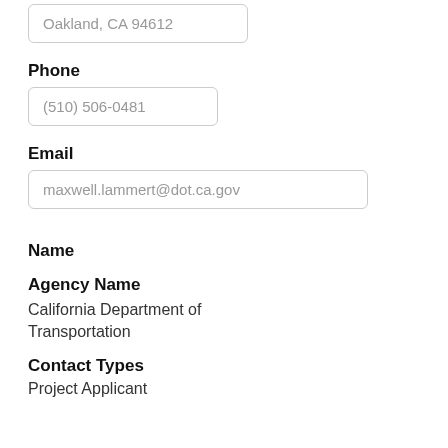Oakland, CA 94612
Phone
(510) 506-0481
Email
maxwell.lammert@dot.ca.gov
Name
Agency Name
California Department of Transportation
Contact Types
Project Applicant